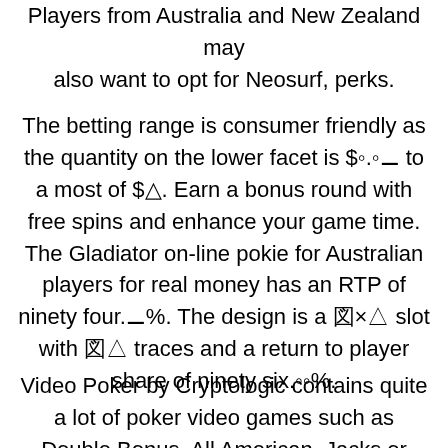Players from Australia and New Zealand may also want to opt for Neosurf, perks.
The betting range is consumer friendly as the quantity on the lower facet is $0.01 to a most of $5. Earn a bonus round with free spins and enhance your game time. The Gladiator on-line pokie for Australian players for real money has an RTP of ninety four.1%. The design is a 3×5 slot with 25 traces and a return to player share of ninety six.00%.
Video Poker by Cryptologic contains quite a lot of poker video games such as Double Bonus, All American, Jacks or Better, and tons of extra. Premier Diamond Edition is a roulette game